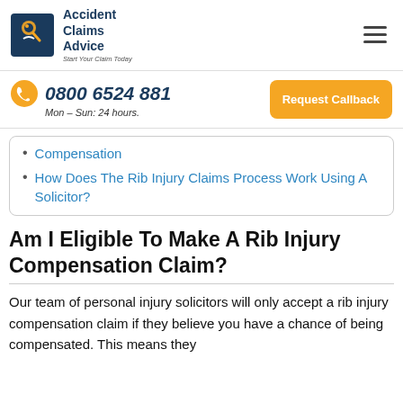Accident Claims Advice – Start Your Claim Today
0800 6524 881 Mon – Sun: 24 hours.
Compensation
How Does The Rib Injury Claims Process Work Using A Solicitor?
Am I Eligible To Make A Rib Injury Compensation Claim?
Our team of personal injury solicitors will only accept a rib injury compensation claim if they believe you have a chance of being compensated. This means they